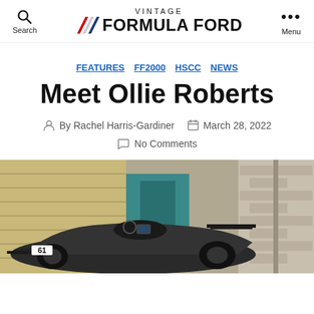VINTAGE FORMULA FORD — Search / Menu
FEATURES  FF2000  HSCC  NEWS
Meet Ollie Roberts
By Rachel Harris-Gardiner   March 28, 2022
No Comments
[Figure (photo): A dark-colored vintage Formula Ford single-seater race car numbered 61, parked in a garage/workshop with teal-painted industrial equipment and a brick wall in the background.]